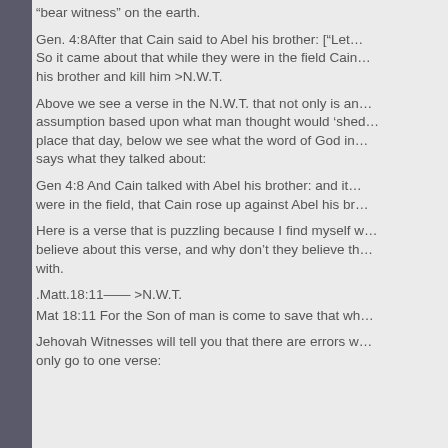“bear witness” on the earth.
Gen. 4:8After that Cain said to Abel his brother: [“Let… So it came about that while they were in the field Cain… his brother and kill him >N.W.T.
Above we see a verse in the N.W.T. that not only is an assumption based upon what man thought would ‘shed… place that day, below we see what the word of God in… says what they talked about:
Gen 4:8 And Cain talked with Abel his brother: and it… were in the field, that Cain rose up against Abel his br…
Here is a verse that is puzzling because I find myself w… believe about this verse, and why don’t they believe th… with.
.Matt.18:11—— >N.W.T.
Mat 18:11 For the Son of man is come to save that wh…
Jehovah Witnesses will tell you that there are errors w… only go to one verse: